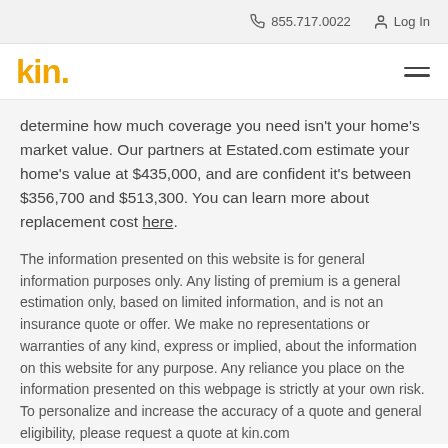855.717.0022   Log In
[Figure (logo): Kin insurance logo — 'kin.' in bold yellow/gold text]
determine how much coverage you need isn't your home's market value. Our partners at Estated.com estimate your home's value at $435,000, and are confident it's between $356,700 and $513,300. You can learn more about replacement cost here.
The information presented on this website is for general information purposes only. Any listing of premium is a general estimation only, based on limited information, and is not an insurance quote or offer. We make no representations or warranties of any kind, express or implied, about the information on this website for any purpose. Any reliance you place on the information presented on this webpage is strictly at your own risk. To personalize and increase the accuracy of a quote and general eligibility, please request a quote at kin.com